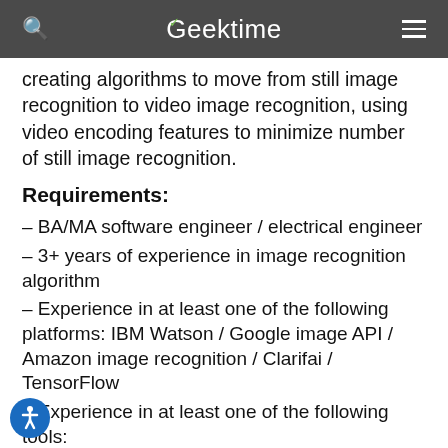Geektime
creating algorithms to move from still image recognition to video image recognition, using video encoding features to minimize number of still image recognition.
Requirements:
– BA/MA software engineer / electrical engineer
– 3+ years of experience in image recognition algorithm
– Experience in at least one of the following platforms: IBM Watson / Google image API / Amazon image recognition / Clarifai / TensorFlow
– Experience in at least one of the following tools:
– JPEG / openCV
– Experience in Video and/or video codec –